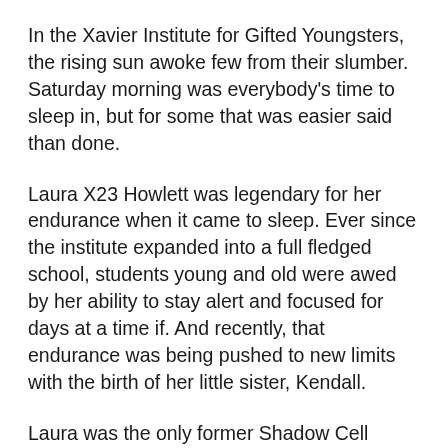In the Xavier Institute for Gifted Youngsters, the rising sun awoke few from their slumber. Saturday morning was everybody's time to sleep in, but for some that was easier said than done.
Laura X23 Howlett was legendary for her endurance when it came to sleep. Ever since the institute expanded into a full fledged school, students young and old were awed by her ability to stay alert and focused for days at a time if. And recently, that endurance was being pushed to new limits with the birth of her little sister, Kendall.
Laura was the only former Shadow Cell member who chose to stay at the mansion. After Jean became pregnant five years ago, she and Scott used the money from their vast inheritance from their late instructor, Magnum, to build a house for themselves on the institute grounds where they could peacefully raise a